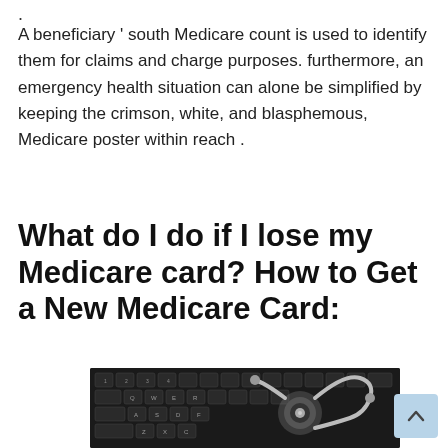.
A beneficiary ' south Medicare count is used to identify them for claims and charge purposes. furthermore, an emergency health situation can alone be simplified by keeping the crimson, white, and blasphemous, Medicare poster within reach .
What do I do if I lose my Medicare card? How to Get a New Medicare Card:
[Figure (photo): Photo of a stethoscope resting on a dark computer keyboard]